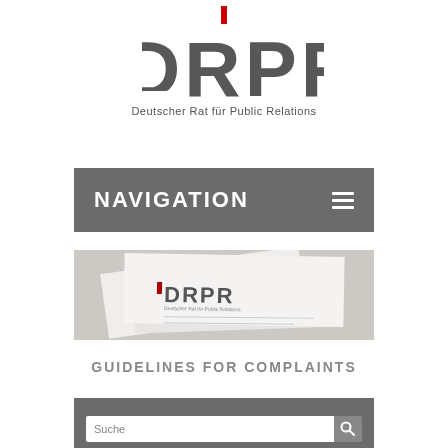[Figure (logo): DRPR logo with red accent mark above, large gray DRPR letters, subtitle 'Deutscher Rat für Public Relations']
NAVIGATION
[Figure (photo): Photo of DRPR branded letterhead/document on a surface showing the DRPR logo]
GUIDELINES FOR COMPLAINTS
[Figure (screenshot): Bottom navigation/search bar with 'Suche' search input and search icon button on gray background]